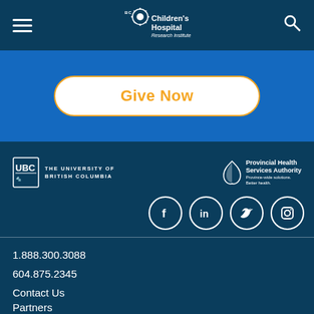[Figure (logo): BC Children's Hospital Research Institute logo with hamburger menu and search icon navigation bar]
Give Now
[Figure (logo): Footer with UBC logo, Provincial Health Services Authority logo, and social media icons (Facebook, LinkedIn, Twitter, Instagram)]
1.888.300.3088
604.875.2345
Contact Us
Partners
Privacy
Terms